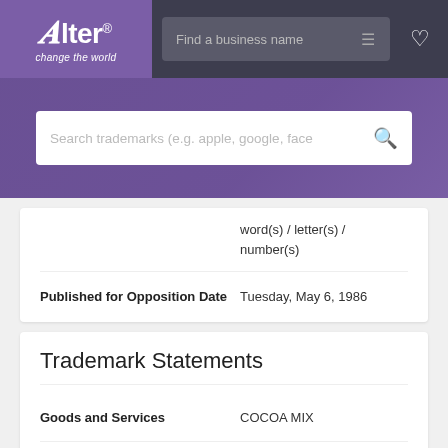[Figure (logo): Alter logo with tagline 'change the world' on purple background]
Find a business name (search bar with filter icon)
Search trademarks (e.g. apple, google, face (search bar)
| Field | Value |
| --- | --- |
|  | word(s) / letter(s) / number(s) |
| Published for Opposition Date | Tuesday, May 6, 1986 |
Trademark Statements
| Field | Value |
| --- | --- |
| Goods and Services | COCOA MIX |
| Lining/Stippling Statement | THE LINING IN THE |